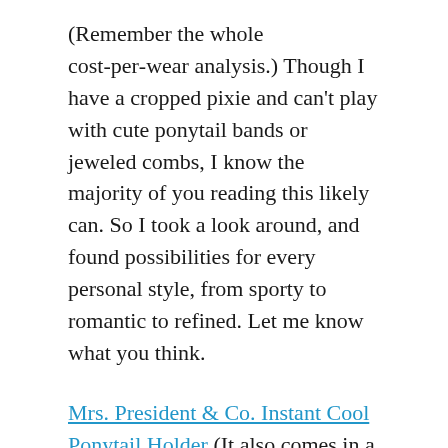(Remember the whole cost-per-wear analysis.) Though I have a cropped pixie and can't play with cute ponytail bands or jeweled combs, I know the majority of you reading this likely can. So I took a look around, and found possibilities for every personal style, from sporty to romantic to refined. Let me know what you think.
Mrs. President & Co. Instant Cool Ponytail Holder (It also comes in a silver tone.)